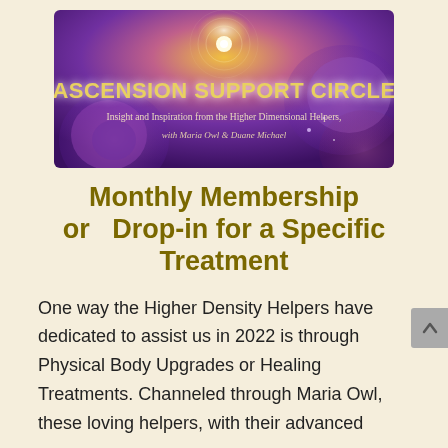[Figure (illustration): Banner image for 'Ascension Support Circle' with purple rose background, golden light burst, text: ASCENSION SUPPORT CIRCLE, Insight and Inspiration from the Higher Dimensional Helpers, with Maria Owl & Duane Michael]
Monthly Membership or Drop-in for a Specific Treatment
One way the Higher Density Helpers have dedicated to assist us in 2022 is through Physical Body Upgrades or Healing Treatments. Channeled through Maria Owl, these loving helpers, with their advanced